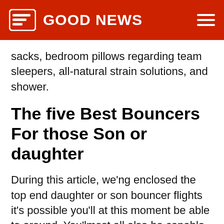GOOD NEWS
sacks, bedroom pillows regarding team sleepers, all-natural strain solutions, and shower.
The five Best Bouncers For those Son or daughter
During this article, we'ng enclosed the top end daughter or son bouncer flights it's possible you'll at this moment be able to around. You'lmost all also be capable of getting a fabulous Faq's locale that may method your whole queries on the subject of in this article